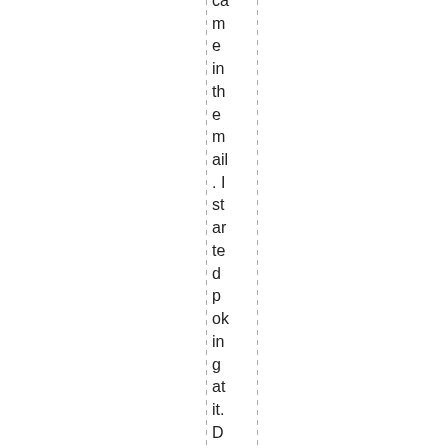came in the mail. I started poking at it. Documentation was